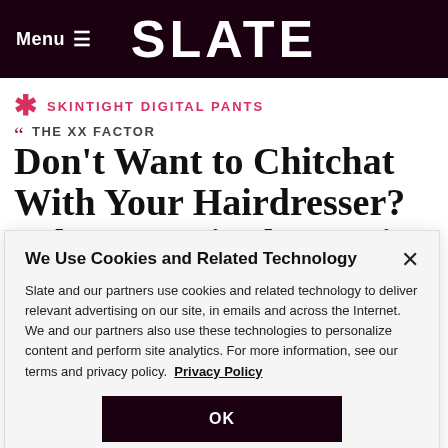Menu  SLATE
SKINTIGHT DIGITAL PANTS
Don’t Want to Chitchat With Your Hairdresser? Take a Seat in the “Quiet Chair”
THE XX FACTOR
We Use Cookies and Related Technology
Slate and our partners use cookies and related technology to deliver relevant advertising on our site, in emails and across the Internet. We and our partners also use these technologies to personalize content and perform site analytics. For more information, see our terms and privacy policy.  Privacy Policy
OK